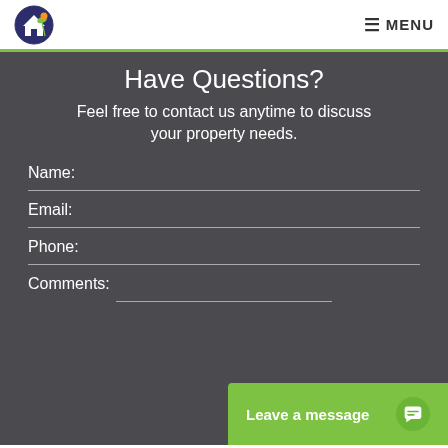MENU
Have Questions?
Feel free to contact us anytime to discuss your property needs.
Name:
Email:
Phone:
Comments:
Leave a message